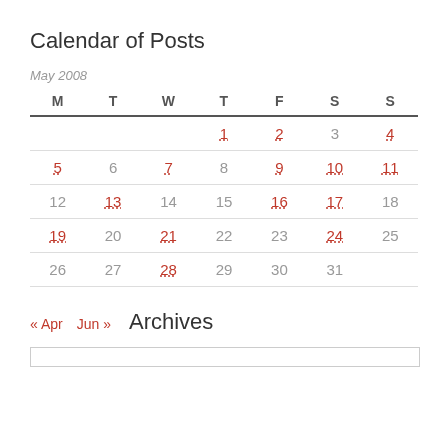Calendar of Posts
| M | T | W | T | F | S | S |
| --- | --- | --- | --- | --- | --- | --- |
|  |  |  | 1 | 2 | 3 | 4 |
| 5 | 6 | 7 | 8 | 9 | 10 | 11 |
| 12 | 13 | 14 | 15 | 16 | 17 | 18 |
| 19 | 20 | 21 | 22 | 23 | 24 | 25 |
| 26 | 27 | 28 | 29 | 30 | 31 |  |
« Apr   Jun »
Archives